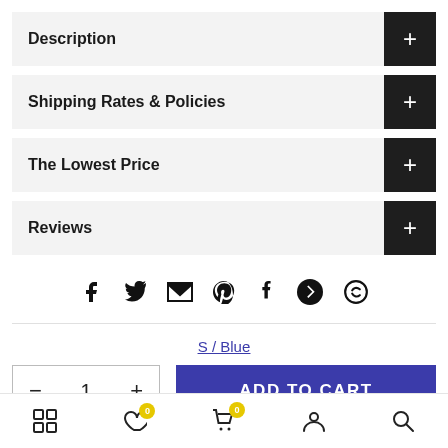Description
Shipping Rates & Policies
The Lowest Price
Reviews
[Figure (infographic): Social share icons row: Facebook, Twitter, Email, Pinterest, Tumblr, Telegram, WhatsApp]
S / Blue
- 1 +
ADD TO CART
Bottom navigation bar with icons: grid, heart (0), cart (0), user, search